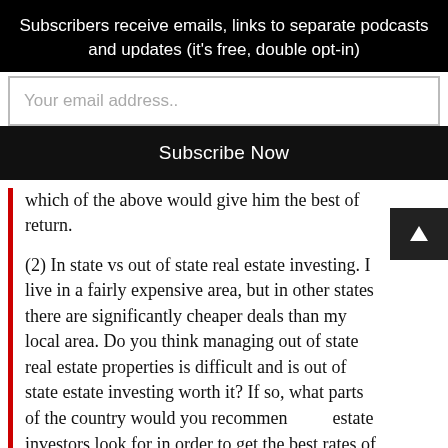Subscribers receive emails, links to separate podcasts and updates (it's free, double opt-in)
Your email address..
Subscribe Now
which of the above would give him the best of return.
(2) In state vs out of state real estate investing. I live in a fairly expensive area, but in other states there are significantly cheaper deals than my local area. Do you think managing out of state real estate properties is difficult and is out of state estate investing worth it? If so, what parts of the country would you recommend real estate investors look for in order to get the best rates of return?